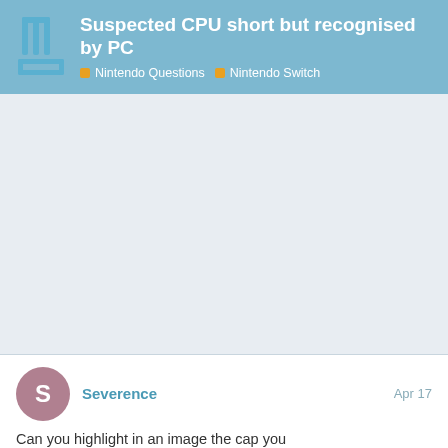Suspected CPU short but recognised by PC
Nintendo Questions  Nintendo Switch
Severence  Apr 17
Can you highlight in an image the cap you
4 / 39